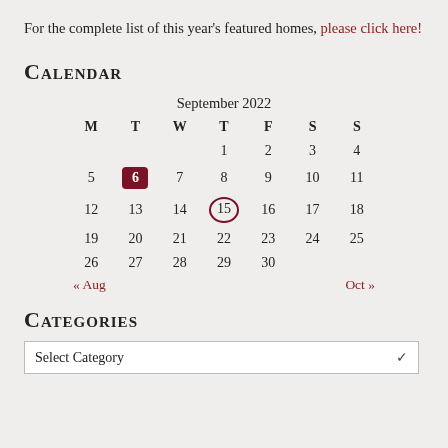For the complete list of this year's featured homes, please click here!
Calendar
[Figure (other): September 2022 calendar widget with day 6 highlighted in dark red and day 15 circled in dark red. Navigation links show « Aug and Oct ».]
Categories
Select Category (dropdown)